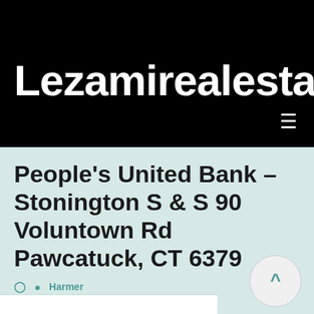Lezamirealestate
People's United Bank – Stonington S & S 90 Voluntown Rd Pawcatuck, CT 6379
Harmer